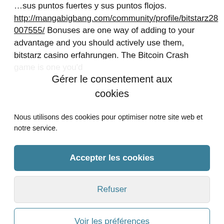…sus puntos fuertes y sus puntos flojos. http://mangabigbang.com/community/profile/bitstarz28007555/ Bonuses are one way of adding to your advantage and you should actively use them, bitstarz casino erfahrungen. The Bitcoin Crash game is one you'd
Gérer le consentement aux cookies
Nous utilisons des cookies pour optimiser notre site web et notre service.
Accepter les cookies
Refuser
Voir les préférences